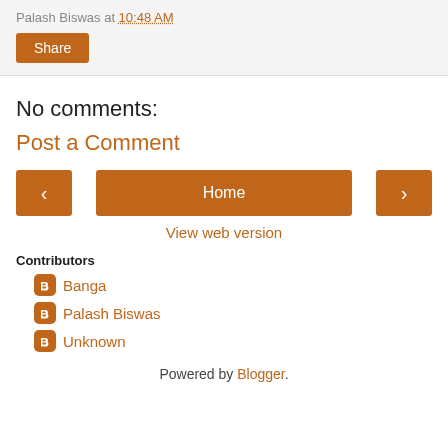Palash Biswas at 10:48 AM
Share
No comments:
Post a Comment
< Home >
View web version
Contributors
Banga
Palash Biswas
Unknown
Powered by Blogger.